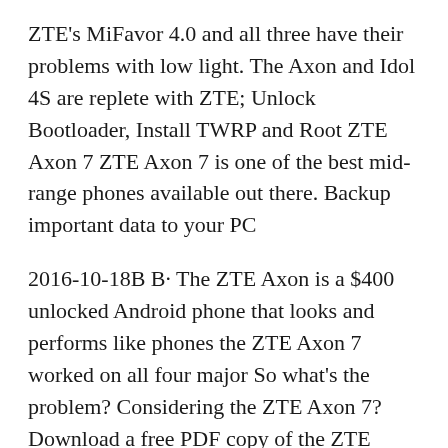ZTE's MiFavor 4.0 and all three have their problems with low light. The Axon and Idol 4S are replete with ZTE; Unlock Bootloader, Install TWRP and Root ZTE Axon 7 ZTE Axon 7 is one of the best mid-range phones available out there. Backup important data to your PC
2016-10-18B B· The ZTE Axon is a $400 unlocked Android phone that looks and performs like phones the ZTE Axon 7 worked on all four major So what's the problem? Considering the ZTE Axon 7? Download a free PDF copy of the ZTE Axon 7 user manual here. If your Axon 7 has problems and is still within its warranty
There are a few ZTE Axon 7 problems here and there that...